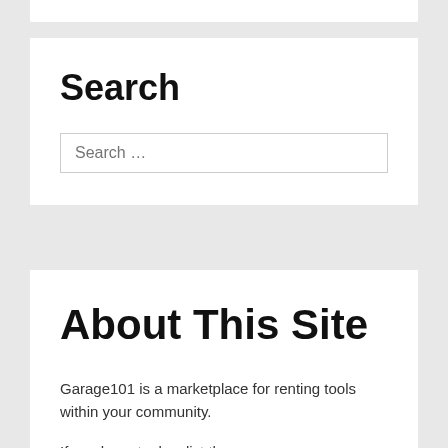Search
[Figure (screenshot): Search input box with placeholder text 'Search …']
About This Site
Garage101 is a marketplace for renting tools within your community.
If you have tools – list them.